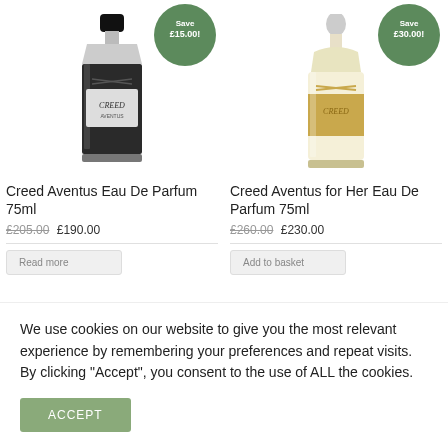[Figure (photo): Creed Aventus Eau De Parfum 75ml bottle - dark/black bottle with Creed logo and Aventus label, with green Save £15.00 badge]
[Figure (photo): Creed Aventus for Her Eau De Parfum 75ml bottle - clear/gold bottle with Creed logo, with green Save £30.00 badge]
Creed Aventus Eau De Parfum 75ml
£205.00 £190.00
Creed Aventus for Her Eau De Parfum 75ml
£260.00 £230.00
We use cookies on our website to give you the most relevant experience by remembering your preferences and repeat visits. By clicking "Accept", you consent to the use of ALL the cookies.